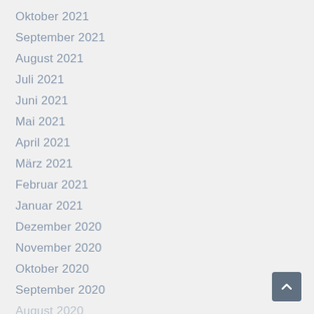Oktober 2021
September 2021
August 2021
Juli 2021
Juni 2021
Mai 2021
April 2021
März 2021
Februar 2021
Januar 2021
Dezember 2020
November 2020
Oktober 2020
September 2020
August 2020